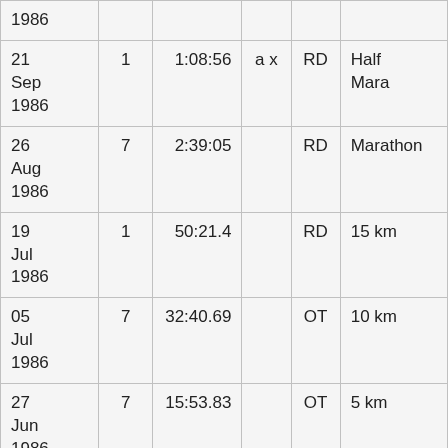| 1986 |  |  |  |  |  |
| 21 Sep 1986 | 1 | 1:08:56 | a x | RD | Half Mara |
| 26 Aug 1986 | 7 | 2:39:05 |  | RD | Marathon |
| 19 Jul 1986 | 1 | 50:21.4 |  | RD | 15 km |
| 05 Jul 1986 | 7 | 32:40.69 |  | OT | 10 km |
| 27 Jun 1986 | 7 | 15:53.83 |  | OT | 5 km |
| 21 | 2 | 2:27:35 | a | RD | Marathon |